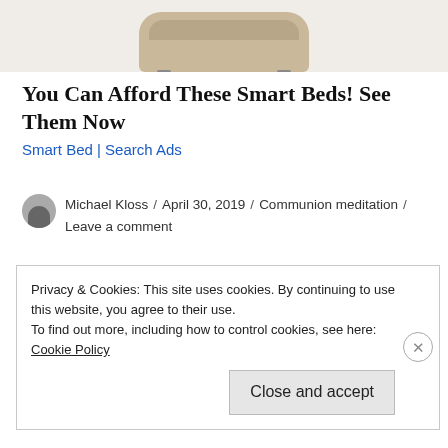[Figure (photo): Partial view of a tan/beige smart bed product image at the top of the page, cropped showing just the top portion of the bed]
You Can Afford These Smart Beds! See Them Now
Smart Bed | Search Ads
Michael Kloss / April 30, 2019 / Communion meditation / Leave a comment
Faith is Not Under Your
Privacy & Cookies: This site uses cookies. By continuing to use this website, you agree to their use.
To find out more, including how to control cookies, see here:
Cookie Policy
Close and accept